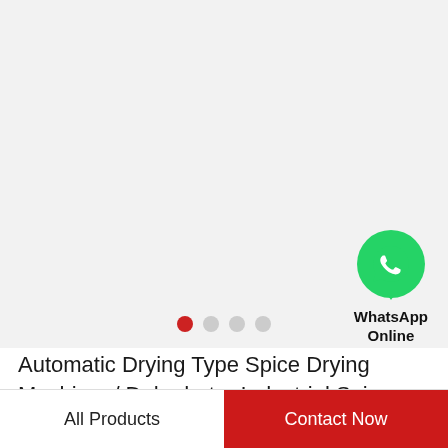[Figure (photo): Light gray background image area for a product photo of a spice drying machine (image not loaded/visible)]
[Figure (logo): WhatsApp green circle icon with white phone handset, labeled 'WhatsApp Online']
Automatic Drying Type Spice Drying Machine, / Dehydrator Industrial Spice Dryer
All Products
Contact Now